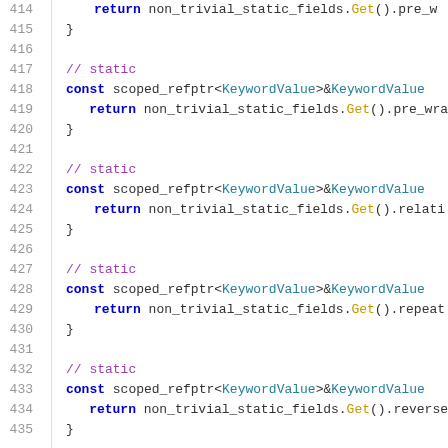Code listing lines 414-435: C++ source code showing static methods returning const scoped_refptr<KeywordValue>& using non_trivial_static_fields.Get() for pre_wrap, relati*, repeat*, and reverse*